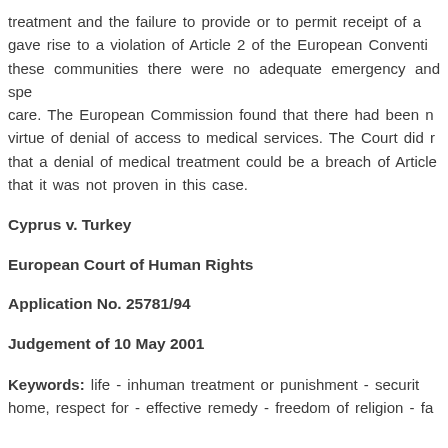treatment and the failure to provide or to permit receipt of a gave rise to a violation of Article 2 of the European Conventi these communities there were no adequate emergency and spe care. The European Commission found that there had been n virtue of denial of access to medical services. The Court did r that a denial of medical treatment could be a breach of Article that it was not proven in this case.
Cyprus v. Turkey
European Court of Human Rights
Application No. 25781/94
Judgement of 10 May 2001
Keywords: life - inhuman treatment or punishment - securit home, respect for - effective remedy - freedom of religion - fa